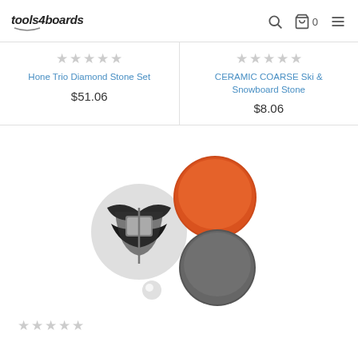tools4boards
[Figure (screenshot): Two product listings side by side: Hone Trio Diamond Stone Set at $51.06 and CERAMIC COARSE Ski & Snowboard Stone at $8.06, each with 0-star ratings]
Hone Trio Diamond Stone Set
$51.06
CERAMIC COARSE Ski & Snowboard Stone
$8.06
[Figure (photo): Product image of Hone Trio Diamond Stone Set showing a black device and two round stones (one orange, one gray)]